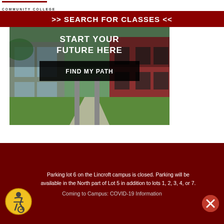COMMUNITY COLLEGE
>> SEARCH FOR CLASSES <<
[Figure (photo): Campus building photo with text overlay: START YOUR FUTURE HERE and FIND MY PATH button]
Parking lot 6 on the Lincroft campus is closed. Parking will be available in the North part of Lot 5 in addition to lots 1, 2, 3, 4, or 7.
Coming to Campus: COVID-19 Information